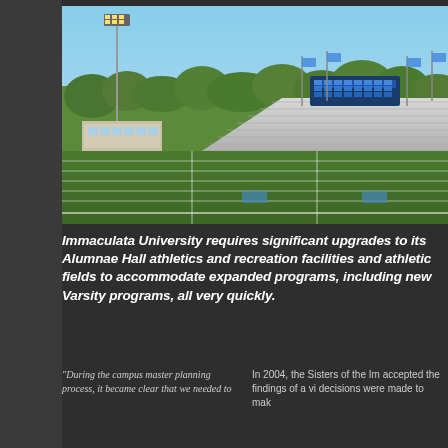[Figure (photo): Aerial view of a college athletic field with stadium bleachers, scoreboard, and surrounding trees under a blue sky. Likely Immaculata University athletic facilities.]
Immaculata University requires significant upgrades to its Alumnae Hall athletics and recreation facilities and athletic fields to accommodate expanded programs, including new Varsity programs, all very quickly.
"During the campus master planning process, it became clear that we needed to
In 2004, the Sisters of the Im accepted the findings of a vi decisions were made to mak